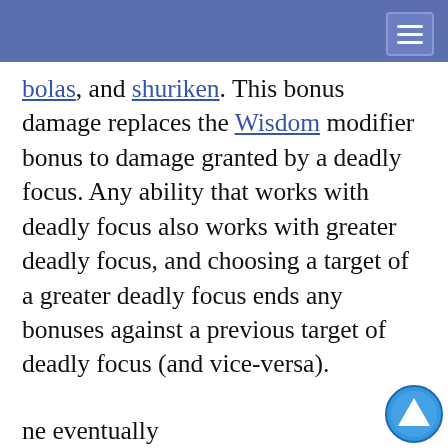bolas, and shuriken. This bonus damage replaces the Wisdom modifier bonus to damage granted by a deadly focus. Any ability that works with deadly focus also works with greater deadly focus, and choosing a target of a greater deadly focus ends any bonuses against a previous target of deadly focus (and vice-versa).
The ability to focus on a deadly focus... is separate ... deadly focus. ... deadly focus ... is greater ... required for a ... a shadow ... s used even if ... not meditate... cus).
This website uses cookies to provide functionality, but which are not used to track your activity. By continuing to use this site, you agree to the use of these cookies.

However, in addition to this, you may opt into your activity being tracked in order to help us improve our service.

For more information, please click here
ne eventually